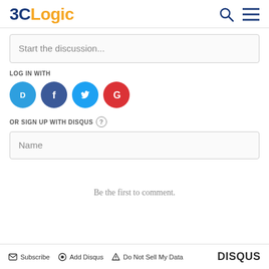3CLogic
Start the discussion...
LOG IN WITH
[Figure (infographic): Social login icons: Disqus (blue speech bubble with D), Facebook (dark blue circle with f), Twitter (light blue circle with bird), Google (red circle with G)]
OR SIGN UP WITH DISQUS ?
Name
Be the first to comment.
Subscribe  Add Disqus  Do Not Sell My Data  DISQUS